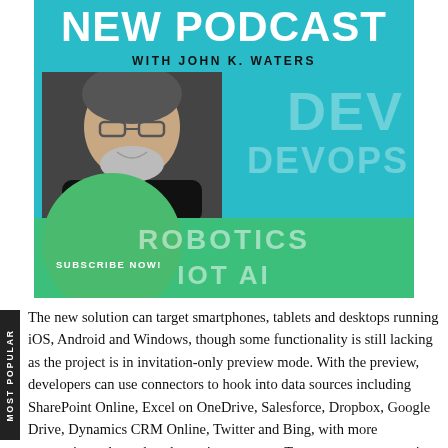[Figure (illustration): Podcast promotional banner with cyan/teal background showing 'NEW PODCAST WITH JOHN K. WATERS' headline, a photo of a man, and text labels DEV, DEVOPS, ROBOTICS, IOT, AI. A green circle at the bottom contains 'SUBSCRIBE NOW!' text.]
The new solution can target smartphones, tablets and desktops running iOS, Android and Windows, though some functionality is still lacking as the project is in invitation-only preview mode. With the preview, developers can use connectors to hook into data sources including SharePoint Online, Excel on OneDrive, Salesforce, Dropbox, Google Drive, Dynamics CRM Online, Twitter and Bing, with more connections planned as the project matures. To connect to on-premises data